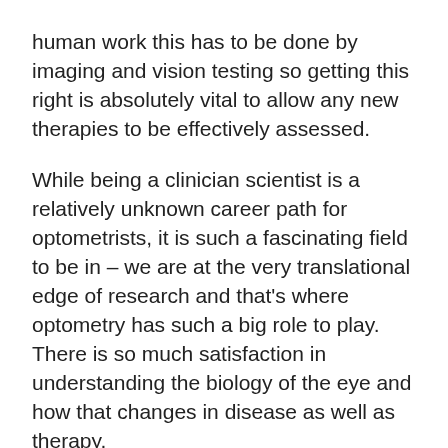human work this has to be done by imaging and vision testing so getting this right is absolutely vital to allow any new therapies to be effectively assessed.
While being a clinician scientist is a relatively unknown career path for optometrists, it is such a fascinating field to be in – we are at the very translational edge of research and that's where optometry has such a big role to play. There is so much satisfaction in understanding the biology of the eye and how that changes in disease as well as therapy.
Plan B
I really don't know as I can't see myself as